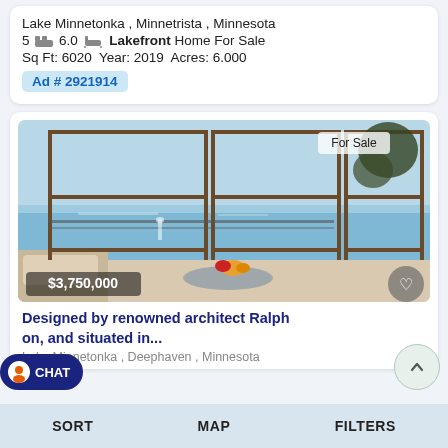Lake Minnetonka, Minnetrista, Minnesota
5 [bed] 6.0 [bath] Lakefront Home For Sale
Sq Ft: 6020  Year: 2019  Acres: 6.000
Ad # 2921914
[Figure (photo): Interior photo of a lakefront home with large panoramic windows overlooking Lake Minnetonka, showing blue water and sky. Price badge $3,750,000 in lower left, For Sale badge upper right, heart button lower right.]
Designed by renowned architect Ralph on, and situated in...
Lake Minnetonka, Deephaven, Minnesota
SORT   MAP   FILTERS